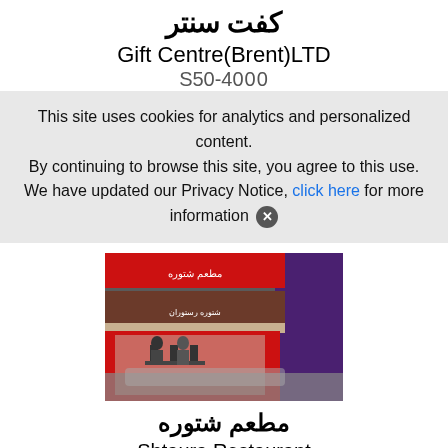كفت سنتر
Gift Centre(Brent)LTD
S50-4000
This site uses cookies for analytics and personalized content. By continuing to browse this site, you agree to this use. We have updated our Privacy Notice, click here for more information ✕
[Figure (photo): Street view photo of a restaurant shopfront with a dark awning, red trim, and people sitting outside]
مطعم شتوره
Shtaura Restaurant
S50-0114
Visits: 2790
[Figure (photo): Street view photo of a shop with Lycamobile sign, Barakan Bazaar banner, and Halal Meat & Chicken sign]